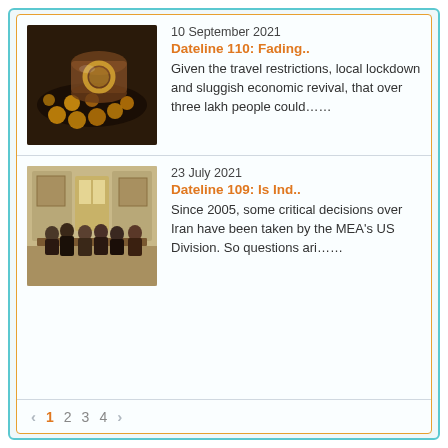[Figure (photo): Coins and rings spilling out of a container on a dark surface]
10 September 2021
Dateline 110: Fading..
Given the travel restrictions, local lockdown and sluggish economic revival, that over three lakh people could……
[Figure (photo): People seated at a meeting table in a formal room]
23 July 2021
Dateline 109: Is Ind..
Since 2005, some critical decisions over Iran have been taken by the MEA's US Division. So questions ari……
‹  1  2  3  4  ›